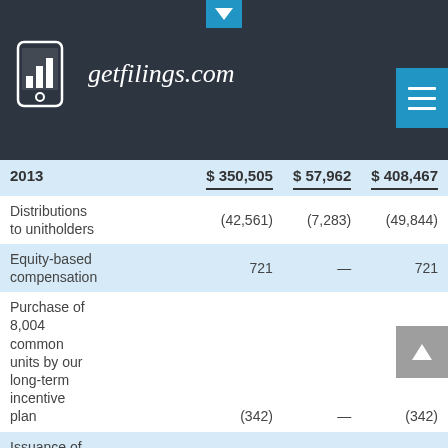[Figure (logo): getfilings.com logo with mobile phone icon showing bar chart, on dark background header]
|  | Column1 | Column2 | Column3 |
| --- | --- | --- | --- |
| 2013 | $ 350,505 | $ 57,962 | $ 408,467 |
| Distributions to unitholders | (42,561) | (7,283) | (49,844) |
| Equity-based compensation | 721 | — | 721 |
| Purchase of 8,004 common units by our long-term incentive plan | (342) | — | (342) |
| Issuance of 20,500 |  |  |  |